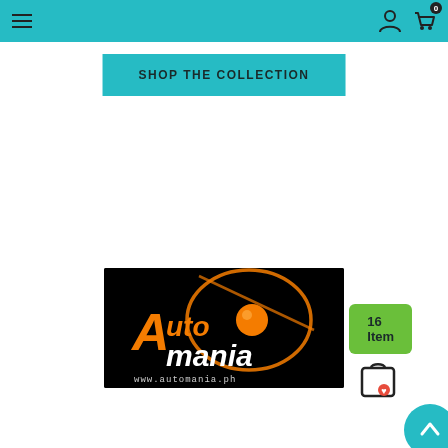[Figure (screenshot): Teal navigation bar with hamburger menu on left and user/cart icons on right]
SHOP THE COLLECTION
16 Item
[Figure (logo): Automania logo on black background with orange text and www.automania.ph URL]
[Figure (illustration): Shopping bag with heart wishlist icon]
[Figure (illustration): Teal scroll-to-top circular button with upward chevron]